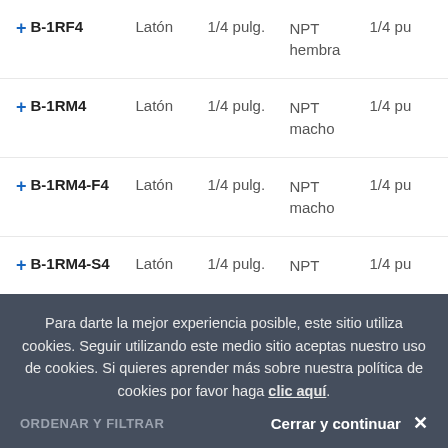+ B-1RF4  Latón  1/4 pulg.  NPT hembra  1/4 pu
+ B-1RM4  Latón  1/4 pulg.  NPT macho  1/4 pu
+ B-1RM4-F4  Latón  1/4 pulg.  NPT macho  1/4 pu
+ B-1RM4-S4  Latón  1/4 pulg.  NPT macho  1/4 pu
Para darte la mejor experiencia posible, este sitio utiliza cookies. Seguir utilizando este medio sitio aceptas nuestro uso de cookies. Si quieres aprender más sobre nuestra política de cookies por favor haga clic aquí.
Cerrar y continuar ×
ORDENAR Y FILTRAR